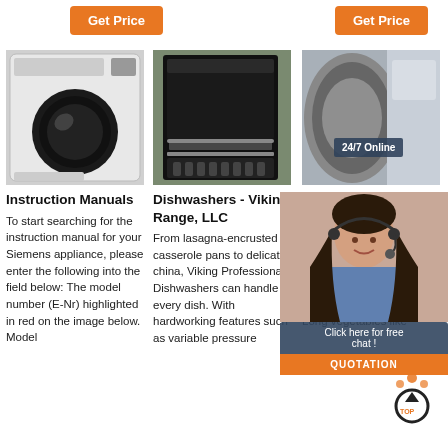[Figure (other): Orange 'Get Price' button on left side of top bar]
[Figure (other): Orange 'Get Price' button on right side of top bar]
[Figure (photo): White front-loading washing machine with black circular door]
Instruction Manuals
To start searching for the instruction manual for your Siemens appliance, please enter the following into the field below: The model number (E-Nr) highlighted in red on the image below. Model
[Figure (photo): Black dishwasher appliance in warehouse/factory setting]
Dishwashers - Viking Range, LLC
From lasagna-encrusted casserole pans to delicate china, Viking Professional Dishwashers can handle every dish. With hardworking features such as variable pressure
[Figure (photo): Washing machine drum close-up and customer service agent with headset overlay, '24/7 Online' badge]
Docum Downlo
A mounta vegetable have to m mountain time! Large-size feed hoppers virtually eliminate pre-cutting and enable the processing of a wide variety of produce. Long vegetables like
[Figure (infographic): Chat overlay with agent photo, 'Click here for free chat!' bubble and QUOTATION orange button]
[Figure (logo): TOP circular arrow upload icon watermark]